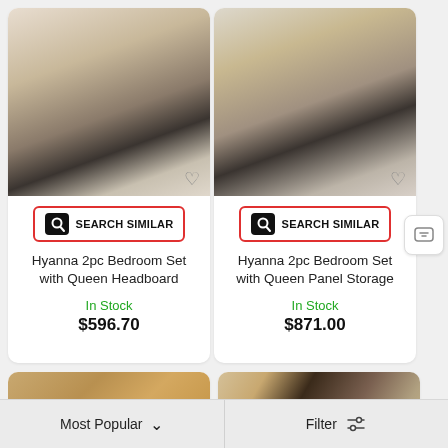[Figure (screenshot): Product card 1: Hyanna 2pc Bedroom Set with Queen Headboard bedroom furniture image]
[Figure (screenshot): Search Similar button for product 1]
Hyanna 2pc Bedroom Set with Queen Headboard
In Stock
$596.70
[Figure (screenshot): Product card 2: Hyanna 2pc Bedroom Set with Queen Panel Storage bedroom furniture image]
[Figure (screenshot): Search Similar button for product 2]
Hyanna 2pc Bedroom Set with Queen Panel Storage
In Stock
$871.00
[Figure (photo): Partial view of nightstand/dresser in light wood]
[Figure (photo): Partial view of dark sofa with decorative pillows]
Most Popular
Filter